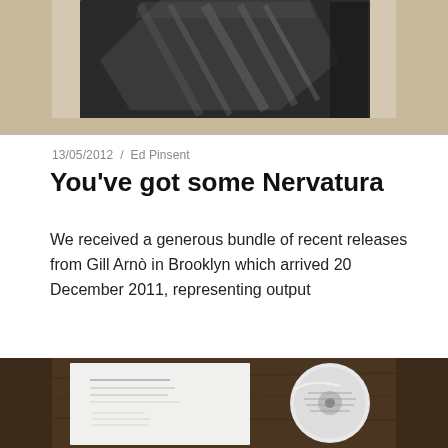[Figure (photo): Photo of a dark book or box with reflective/foil cover, on a light wooden surface, viewed from an angle]
13/05/2012  /  Ed Pinsent
You've got some Nervatura
We received a generous bundle of recent releases from Gill Arnò in Brooklyn which arrived 20 December 2011, representing output
Continue reading »
[Figure (photo): Photo of a CD and its booklet/sleeve on a dark wooden table]